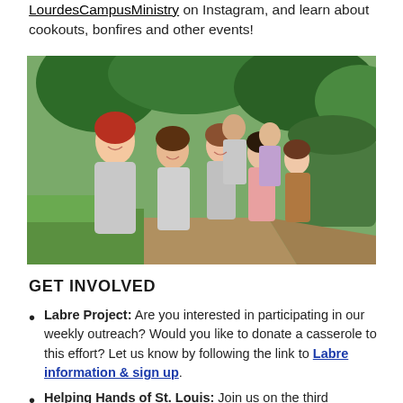LourdesCampusMinistry on Instagram, and learn about cookouts, bonfires and other events!
[Figure (photo): Group of smiling young people posing together outdoors on a path surrounded by green trees and bushes, several wearing gray t-shirts with text about mission/outreach.]
GET INVOLVED
Labre Project: Are you interested in participating in our weekly outreach? Would you like to donate a casserole to this effort? Let us know by following the link to Labre information & sign up.
Helping Hands of St. Louis: Join us on the third